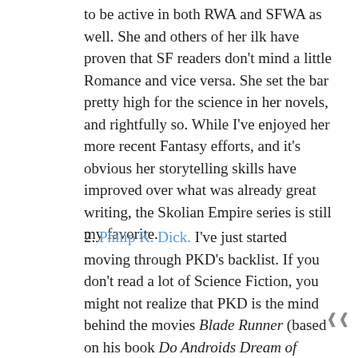to be active in both RWA and SFWA as well. She and others of her ilk have proven that SF readers don't mind a little Romance and vice versa. She set the bar pretty high for the science in her novels, and rightfully so. While I've enjoyed her more recent Fantasy efforts, and it's obvious her storytelling skills have improved over what was already great writing, the Skolian Empire series is still my favorite.
2. Philip K. Dick. I've just started moving through PKD's backlist. If you don't read a lot of Science Fiction, you might not realize that PKD is the mind behind the movies Blade Runner (based on his book Do Androids Dream of Electric Sheep?), Minority Report (based on the eponymous short story written in 1958), Total Recall (based on We Can Remember It For You Wholesale) and A Scanner Darkly. I don't think there's any other